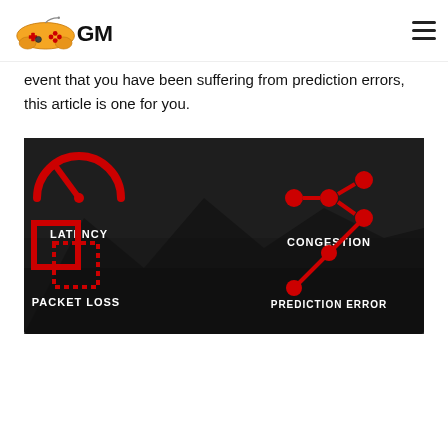GM (gaming logo with controller icon and hamburger menu)
event that you have been suffering from prediction errors, this article is one for you.
[Figure (infographic): Dark gaming scene background (post-apocalyptic landscape) with four red gaming network issue icons and labels: LATENCY (speedometer icon, top-left), CONGESTION (network nodes icon, top-right), PACKET LOSS (overlapping squares icon, bottom-left), PREDICTION ERROR (diagonal arrow with nodes icon, bottom-right). All labels in white bold condensed text.]